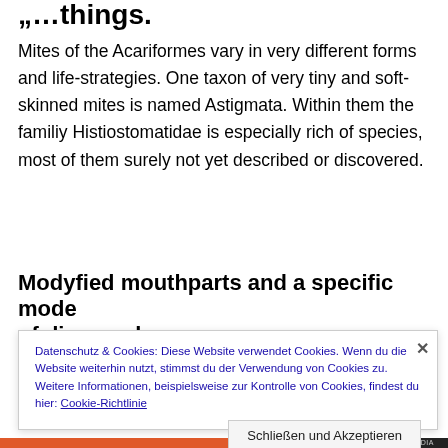„…things..
Mites of the Acariformes vary in very different forms and life-strategies. One taxon of very tiny and soft-skinned mites is named Astigmata. Within them the familiy Histiostomatidae is especially rich of species, most of them surely not yet described or discovered.
Modyfied mouthparts and a specific mode of dispersal
Datenschutz & Cookies: Diese Website verwendet Cookies. Wenn du die Website weiterhin nutzt, stimmst du der Verwendung von Cookies zu. Weitere Informationen, beispielsweise zur Kontrolle von Cookies, findest du hier: Cookie-Richtlinie
Schließen und Akzeptieren